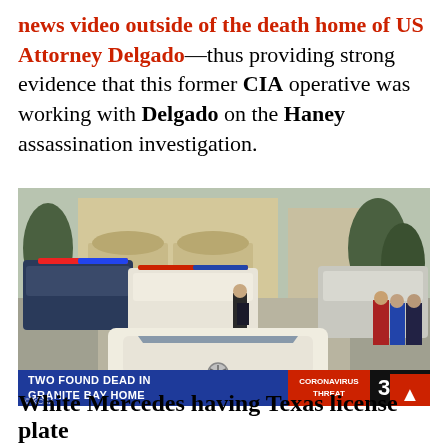news video outside of the death home of US Attorney Delgado—thus providing strong evidence that this former CIA operative was working with Delgado on the Haney assassination investigation.
[Figure (photo): News footage screenshot showing police vehicles and officers at a residential scene in Granite Bay. A white Mercedes is prominently in the foreground. Lower chyron reads 'TWO FOUND DEAD IN GRANITE BAY HOME' with 'CORONAVIRUS THREAT' and KCRA 3 NBC logo. KCRA watermark bottom left.]
White Mercedes having Texas license plate